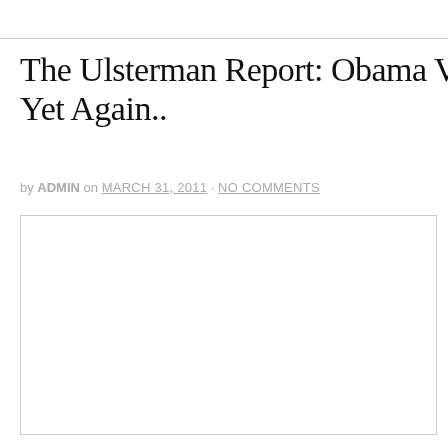The Ulsterman Report: Obama Votes “Prese Yet Again..
by ADMIN on MARCH 31, 2011 · NO COMMENTS